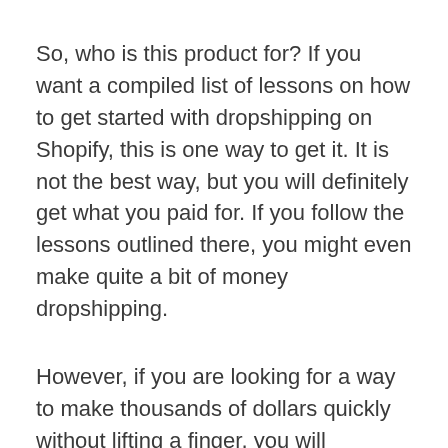So, who is this product for? If you want a compiled list of lessons on how to get started with dropshipping on Shopify, this is one way to get it. It is not the best way, but you will definitely get what you paid for. If you follow the lessons outlined there, you might even make quite a bit of money dropshipping.
However, if you are looking for a way to make thousands of dollars quickly without lifting a finger, you will definitely be